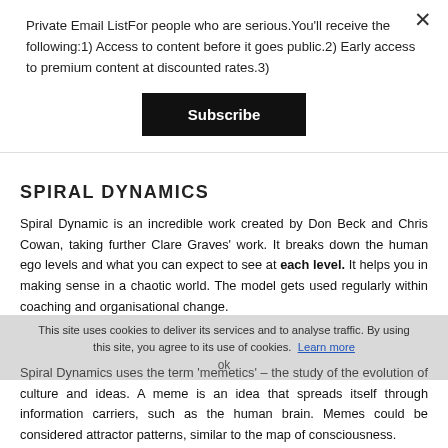Private Email ListFor people who are serious.You'll receive the following:1) Access to content before it goes public.2) Early access to premium content at discounted rates.3)
Subscribe
SPIRAL DYNAMICS
Spiral Dynamic is an incredible work created by Don Beck and Chris Cowan, taking further Clare Graves' work. It breaks down the human ego levels and what you can expect to see at each level. It helps you in making sense in a chaotic world. The model gets used regularly within coaching and organisational change.
This site uses cookies to deliver its services and to analyse traffic. By using this site, you agree to its use of cookies. Learn more
ok
Spiral Dynamics uses the term 'memetics' – the study of the evolution of culture and ideas. A meme is an idea that spreads itself through information carriers, such as the human brain. Memes could be considered attractor patterns, similar to the map of consciousness.